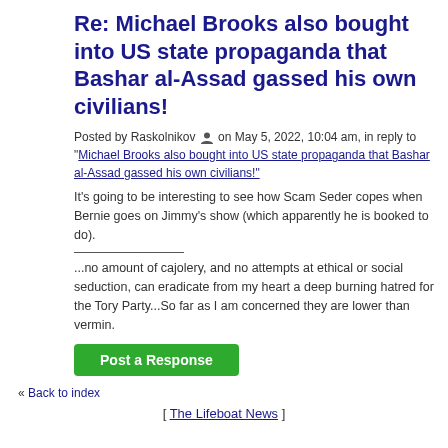Re: Michael Brooks also bought into US state propaganda that Bashar al-Assad gassed his own civilians!
Posted by Raskolnikov [icon] on May 5, 2022, 10:04 am, in reply to "Michael Brooks also bought into US state propaganda that Bashar al-Assad gassed his own civilians!"
It's going to be interesting to see how Scam Seder copes when Bernie goes on Jimmy's show (which apparently he is booked to do).
...no amount of cajolery, and no attempts at ethical or social seduction, can eradicate from my heart a deep burning hatred for the Tory Party...So far as I am concerned they are lower than vermin.
Post a Response
« Back to index
[ The Lifeboat News ]